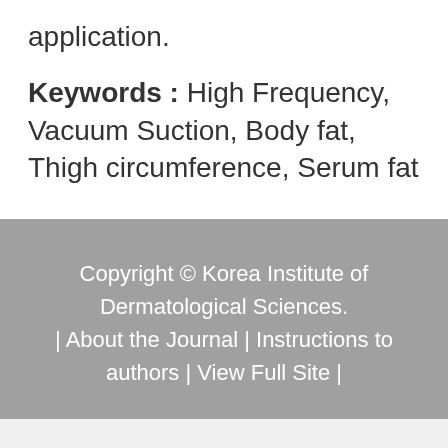application.
Keywords : High Frequency, Vacuum Suction, Body fat, Thigh circumference, Serum fat
Copyright © Korea Institute of Dermatological Sciences. | About the Journal | Instructions to authors | View Full Site |